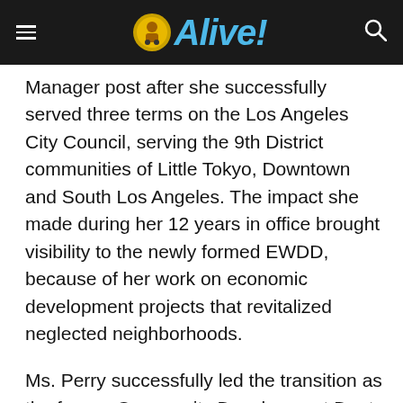Alive!
Manager post after she successfully served three terms on the Los Angeles City Council, serving the 9th District communities of Little Tokyo, Downtown and South Los Angeles. The impact she made during her 12 years in office brought visibility to the newly formed EWDD, because of her work on economic development projects that revitalized neglected neighborhoods.
Ms. Perry successfully led the transition as the former Community Development Dept. was dismantled to form EWDD, which also included the creation and integration of a new Economic Development Division (EDD) designed to stimulate LA's economy by leveraging the City's real estate assets into development projects that could create jobs and